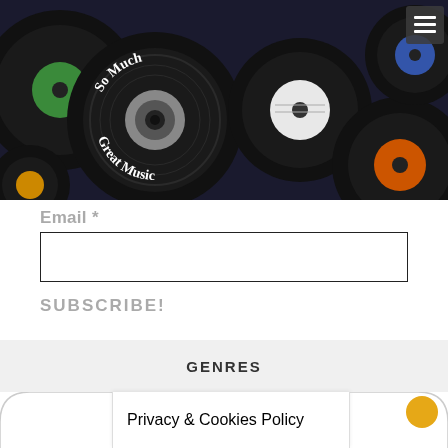[Figure (illustration): Header banner showing vinyl records scattered with colorful labels (green, orange, white, blue, red). A circular vinyl record logo in the top-left reads 'So Much Great Music' in white text on a dark vinyl graphic.]
Email *
[Figure (screenshot): Email input text field, empty, with a dark border]
SUBSCRIBE!
GENRES
Privacy & Cookies Policy